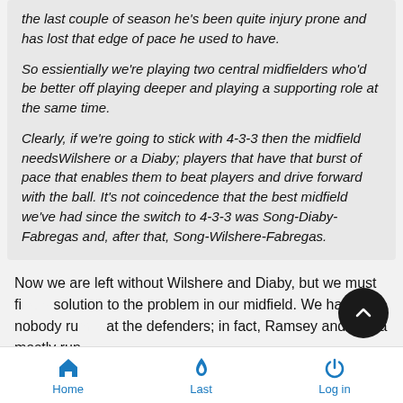the last couple of season he's been quite injury prone and has lost that edge of pace he used to have.
So essientially we're playing two central midfielders who'd be better off playing deeper and playing a supporting role at the same time.
Clearly, if we're going to stick with 4-3-3 then the midfield needsWilshere or a Diaby; players that have that burst of pace that enables them to beat players and drive forward with the ball. It's not coincedence that the best midfield we've had since the switch to 4-3-3 was Song-Diaby-Fabregas and, after that, Song-Wilshere-Fabregas.
Now we are left without Wilshere and Diaby, but we must fi... solution to the problem in our midfield. We have nobody ru... at the defenders; in fact, Ramsey and Arteta mostly run
Home | Last | Log in